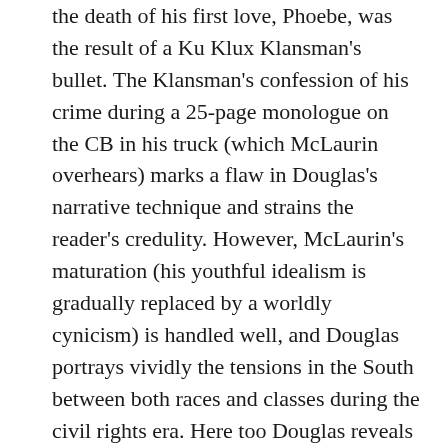the death of his first love, Phoebe, was the result of a Ku Klux Klansman's bullet. The Klansman's confession of his crime during a 25-page monologue on the CB in his truck (which McLaurin overhears) marks a flaw in Douglas's narrative technique and strains the reader's credulity. However, McLaurin's maturation (his youthful idealism is gradually replaced by a worldly cynicism) is handled well, and Douglas portrays vividly the tensions in the South between both races and classes during the civil rights era. Here too Douglas reveals her angry sense that technology and materialism have replaced tradition values in the New South.